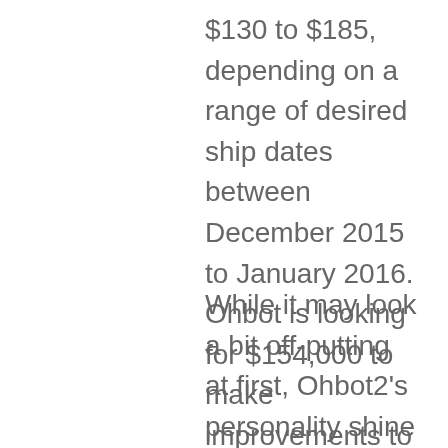$130 to $185, depending on a range of desired ship dates between December 2015 to January 2016. Ohbot is looking for $154,000 to make improvements to Ohbot2’s expressiveness and ease of construction by November 16th, 2015.
While it may look a bit off-putting at first, Ohbot2’s personality shine through in how it swivels around and the voice it uses to speak even if it is a bit rough around the edges and naturally catches and maintain the attention of children. Other kids-focused programming initiatives